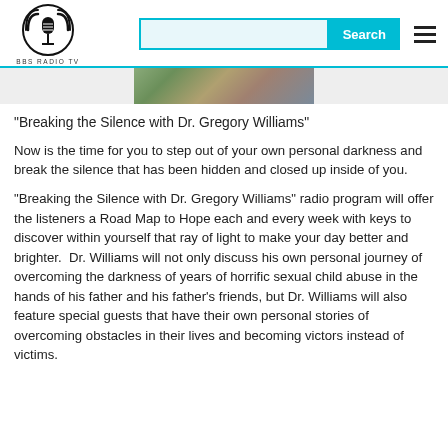BBS RADIO TV
[Figure (photo): Partial image strip showing a person or graphic at the top of the content area]
"Breaking the Silence with Dr. Gregory Williams"
Now is the time for you to step out of your own personal darkness and break the silence that has been hidden and closed up inside of you.
"Breaking the Silence with Dr. Gregory Williams" radio program will offer the listeners a Road Map to Hope each and every week with keys to discover within yourself that ray of light to make your day better and brighter.  Dr. Williams will not only discuss his own personal journey of overcoming the darkness of years of horrific sexual child abuse in the hands of his father and his father's friends, but Dr. Williams will also feature special guests that have their own personal stories of overcoming obstacles in their lives and becoming victors instead of victims.